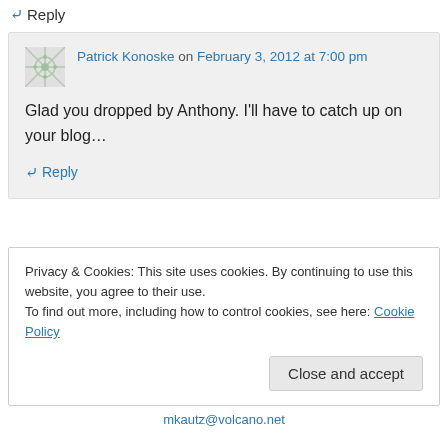↪ Reply
Patrick Konoske on February 3, 2012 at 7:00 pm
Glad you dropped by Anthony. I'll have to catch up on your blog…
↪ Reply
Privacy & Cookies: This site uses cookies. By continuing to use this website, you agree to their use.
To find out more, including how to control cookies, see here: Cookie Policy
Close and accept
mkautz@volcano.net